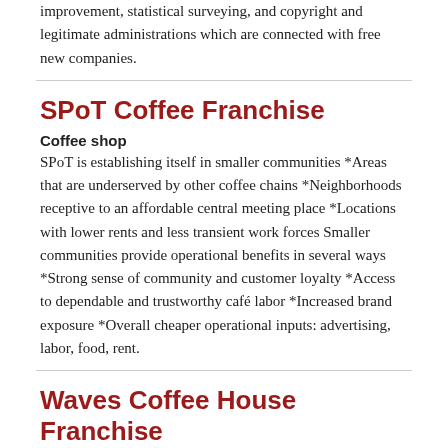improvement, statistical surveying, and copyright and legitimate administrations which are connected with free new companies.
SPoT Coffee Franchise
Coffee shop
SPoT is establishing itself in smaller communities *Areas that are underserved by other coffee chains *Neighborhoods receptive to an affordable central meeting place *Locations with lower rents and less transient work forces Smaller communities provide operational benefits in several ways *Strong sense of community and customer loyalty *Access to dependable and trustworthy café labor *Increased brand exposure *Overall cheaper operational inputs: advertising, labor, food, rent.
Waves Coffee House Franchise
Coffee Shop
So, you love coffee and have a dream of running your own business - but you don't know how to go about it? Becoming a